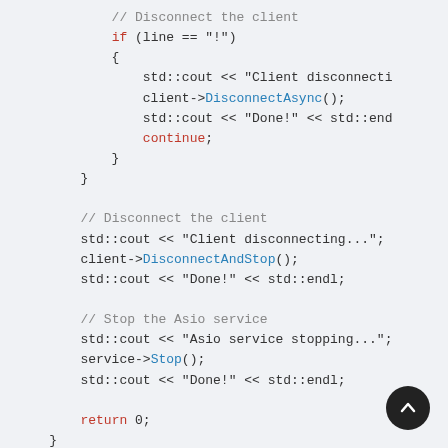// Disconnect the client
if (line == "!")
{
    std::cout << "Client disconnecti
    client->DisconnectAsync();
    std::cout << "Done!" << std::end
    continue;
}
}

// Disconnect the client
std::cout << "Client disconnecting...";
client->DisconnectAndStop();
std::cout << "Done!" << std::endl;

// Stop the Asio service
std::cout << "Asio service stopping...";
service->Stop();
std::cout << "Done!" << std::endl;

return 0;
}